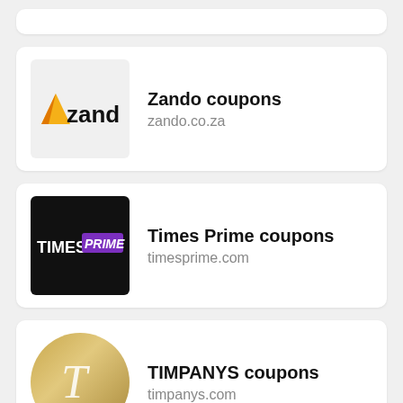[Figure (logo): Partial card at top (cut off)]
Zando coupons
zando.co.za
Times Prime coupons
timesprime.com
TIMPANYS coupons
timpanys.com
Kenny Parker Label coupons
kennyparker.com.au